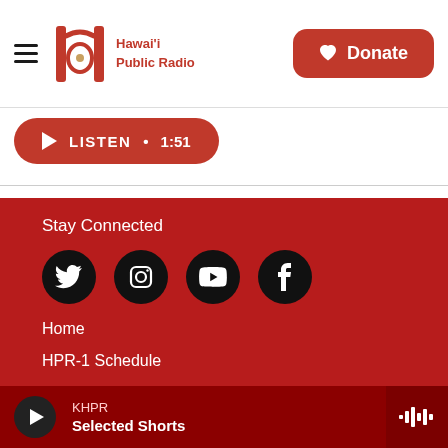Hawaii Public Radio
[Figure (screenshot): Listen button with play icon showing LISTEN · 1:51]
Stay Connected
[Figure (infographic): Social media icons: Twitter, Instagram, YouTube, Facebook]
Home
HPR-1 Schedule
HPR-2 Schedule
KHPR Selected Shorts